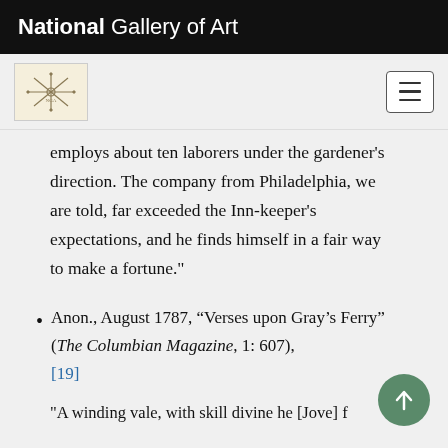National Gallery of Art
employs about ten laborers under the gardener's direction. The company from Philadelphia, we are told, far exceeded the Inn-keeper's expectations, and he finds himself in a fair way to make a fortune."
Anon., August 1787, “Verses upon Gray’s Ferry” (The Columbian Magazine, 1: 607), [19]
"A winding vale, with skill divine he [Jove] f